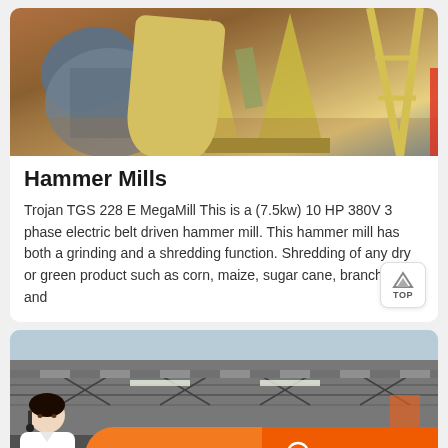[Figure (photo): Outdoor industrial machinery — hammer mill and yellow cone-shaped equipment on a reddish dirt ground with trees in background]
Hammer Mills
Trojan TGS 228 E MegaMill This is a (7.5kw) 10 HP 380V 3 phase electric belt driven hammer mill. This hammer mill has both a grinding and a shredding function. Shredding of any dry or green product such as corn, maize, sugar cane, branches and
[Figure (photo): Interior of a large industrial warehouse with steel roof trusses and corrugated metal roofing, with orange chat bar overlay at bottom]
Message
Online Chat